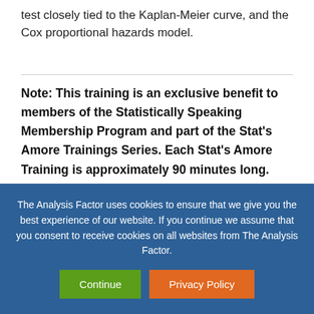test closely tied to the Kaplan-Meier curve, and the Cox proportional hazards model.
Note: This training is an exclusive benefit to members of the Statistically Speaking Membership Program and part of the Stat's Amore Trainings Series. Each Stat's Amore Training is approximately 90 minutes long.
The Analysis Factor uses cookies to ensure that we give you the best experience of our website. If you continue we assume that you consent to receive cookies on all websites from The Analysis Factor.